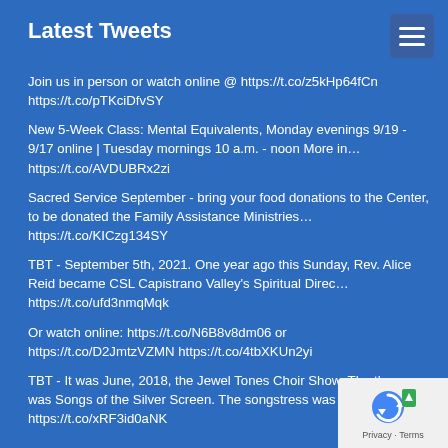Latest Tweets
Join us in person or watch online @ https://t.co/z5kHp64fCn https://t.co/pTKciDfvSY
New 5-Week Class: Mental Equivalents, Monday evenings 9/19 - 9/17 online | Tuesday mornings 10 a.m. - noon More in… https://t.co/AVDUBRx2zi
Sacred Service September - bring your food donations to the Center, to be donated the Family Assistance Ministries… https://t.co/KICzg134SY
TBT - September 5th, 2021. One year ago this Sunday, Rev. Alice Reid became CSL Capistrano Valley's Spiritual Direc… https://t.co/ufd3nmqMqk
Or watch online: https://t.co/N6B8v8dm06 or https://t.co/D2JmtzVZMN https://t.co/4tbXKUn2yi
TBT - It was June, 2018, the Jewel Tones Choir Show. The theme was Songs of the Silver Screen. The songstress was K… https://t.co/xRF3id0aNK